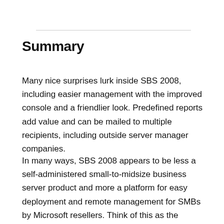Summary
Many nice surprises lurk inside SBS 2008, including easier management with the improved console and a friendlier look. Predefined reports add value and can be mailed to multiple recipients, including outside server manager companies.
In many ways, SBS 2008 appears to be less a self-administered small-to-midsize business server product and more a platform for easy deployment and remote management for SMBs by Microsoft resellers. Think of this as the kitchen sink server. We